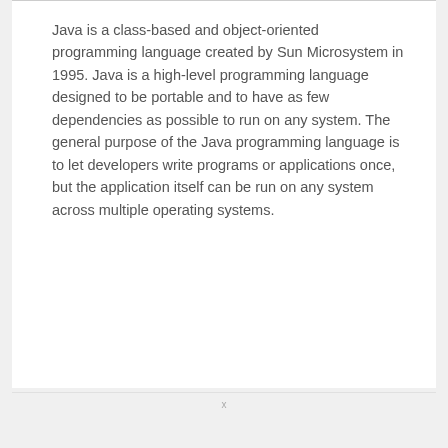Java is a class-based and object-oriented programming language created by Sun Microsystem in 1995. Java is a high-level programming language designed to be portable and to have as few dependencies as possible to run on any system. The general purpose of the Java programming language is to let developers write programs or applications once, but the application itself can be run on any system across multiple operating systems.